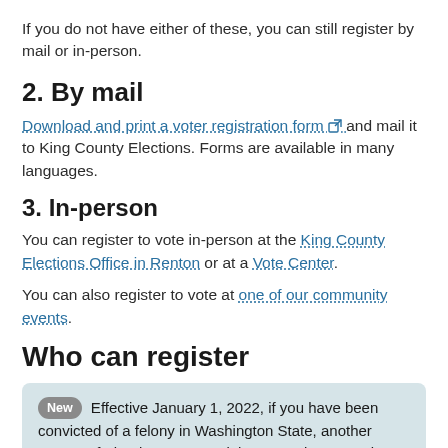If you do not have either of these, you can still register by mail or in-person.
2. By mail
Download and print a voter registration form [external link icon] and mail it to King County Elections. Forms are available in many languages.
3. In-person
You can register to vote in-person at the King County Elections Office in Renton or at a Vote Center.
You can also register to vote at one of our community events.
Who can register
New  Effective January 1, 2022, if you have been convicted of a felony in Washington State, another state, or federal court, your right to vote is restored as long as you are not currently serving a DOC sentence in total confinement. Going forward, voting rights are